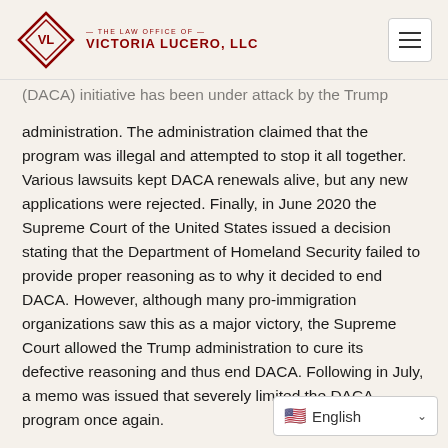THE LAW OFFICE OF VICTORIA LUCERO, LLC
(DACA) initiative has been under attack by the Trump administration. The administration claimed that the program was illegal and attempted to stop it all together. Various lawsuits kept DACA renewals alive, but any new applications were rejected. Finally, in June 2020 the Supreme Court of the United States issued a decision stating that the Department of Homeland Security failed to provide proper reasoning as to why it decided to end DACA. However, although many pro-immigration organizations saw this as a major victory, the Supreme Court allowed the Trump administration to cure its defective reasoning and thus end DACA. Following in July, a memo was issued that severely limited the DACA program once again.
In the months following the Supreme Court's decision, other lawsuits were filed and o...